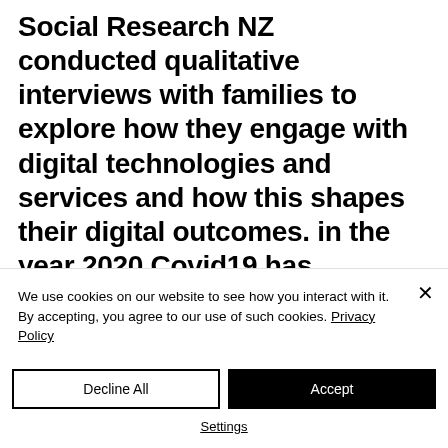Social Research NZ conducted qualitative interviews with families to explore how they engage with digital technologies and services and how this shapes their digital outcomes. in the year 2020 Covid19 has amplified our need for digital technologies and it is
We use cookies on our website to see how you interact with it. By accepting, you agree to our use of such cookies. Privacy Policy
Decline All
Accept
Settings